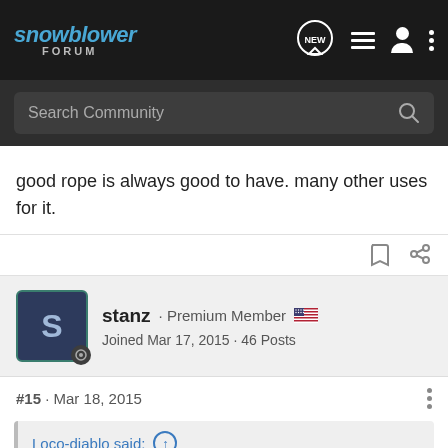snowblower FORUM
good rope is always good to have. many other uses for it.
stanz · Premium Member
Joined Mar 17, 2015 · 46 Posts
#15 · Mar 18, 2015
Loco-diablo said: ↑
+1 .. you can see and touch the quality.. as far as buying 200' worth, will anyone ever need that much rope?
I use the same rope on mowers that I use on blowers. I repair